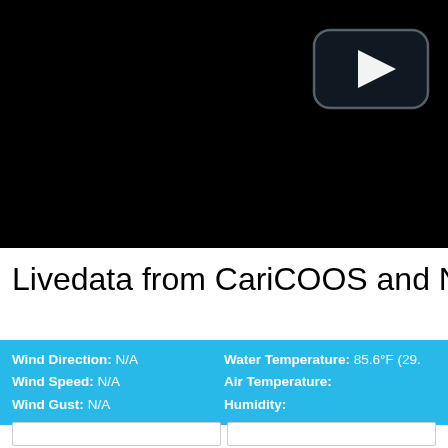[Figure (screenshot): Black video player area with a YouTube-style play button in the upper right corner]
Livedata from CariCOOS and N
Wind Direction: N/A  Water Temperature: 85.6°F (29.  Wind Speed: N/A  Air Temperature:  Wind Gust: N/A  Humidity:
[Figure (screenshot): Two white panel boxes at the bottom of the page]